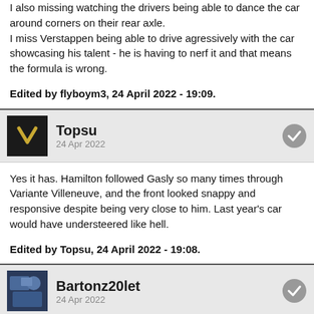I also missing watching the drivers being able to dance the car around corners on their rear axle.
I miss Verstappen being able to drive agressively with the car showcasing his talent - he is having to nerf it and that means the formula is wrong.
Edited by flyboym3, 24 April 2022 - 19:09.
Topsu
24 Apr 2022
Yes it has. Hamilton followed Gasly so many times through Variante Villeneuve, and the front looked snappy and responsive despite being very close to him. Last year's car would have understeered like hell.
Edited by Topsu, 24 April 2022 - 19:08.
Bartonz20let
24 Apr 2022
BRK, on 24 Apr 2022 - 19:05, said:
Yes, it has. Perhaps not for a few drivers and their fan communities.